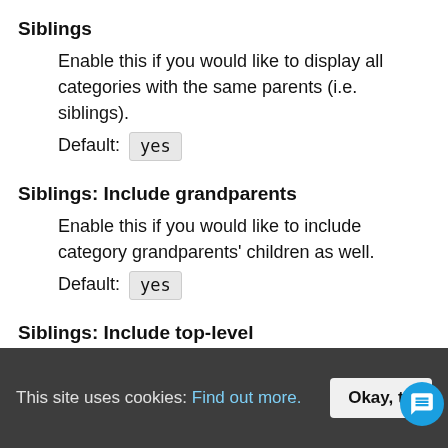Siblings
Enable this if you would like to display all categories with the same parents (i.e. siblings).
Default: yes
Siblings: Include grandparents
Enable this if you would like to include category grandparents' children as well.
Default: yes
Siblings: Include top-level
Enable this if you would like to include top-level (i.e. zero) category in (grand)parents.
Default:
This site uses cookies: Find out more.
Okay, th